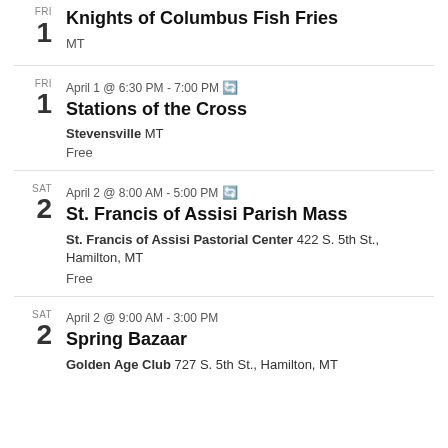FRI 1 — Knights of Columbus Fish Fries — MT
FRI 1 — April 1 @ 6:30 PM - 7:00 PM (recurring) — Stations of the Cross — Stevensville MT — Free
SAT 2 — April 2 @ 8:00 AM - 5:00 PM (recurring) — St. Francis of Assisi Parish Mass — St. Francis of Assisi Pastorial Center 422 S. 5th St., Hamilton, MT — Free
SAT 2 — April 2 @ 9:00 AM - 3:00 PM — Spring Bazaar — Golden Age Club 727 S. 5th St., Hamilton, MT